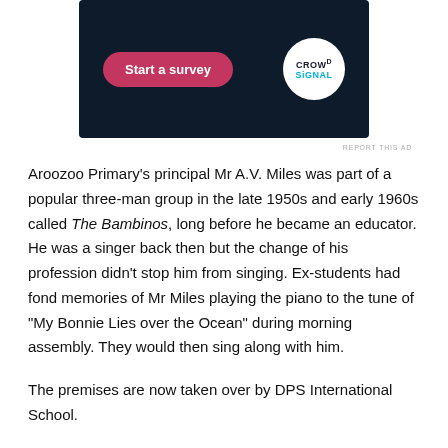[Figure (screenshot): Advertisement banner with dark navy background showing a pink rounded-rectangle button labeled 'Start a survey' and a white circle logo reading 'CROWD SIGNAL' in the top-right corner.]
REPORT THIS AD
Aroozoo Primary's principal Mr A.V. Miles was part of a popular three-man group in the late 1950s and early 1960s called The Bambinos, long before he became an educator. He was a singer back then but the change of his profession didn't stop him from singing. Ex-students had fond memories of Mr Miles playing the piano to the tune of "My Bonnie Lies over the Ocean" during morning assembly. They would then sing along with him.
The premises are now taken over by DPS International School.